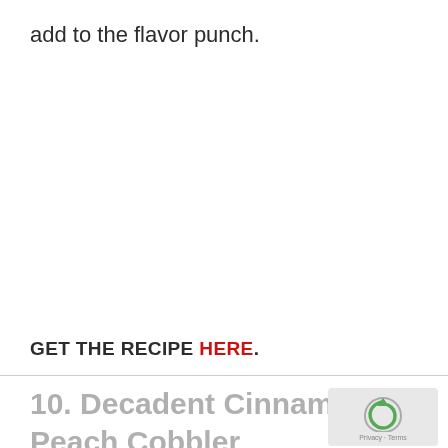add to the flavor punch.
GET THE RECIPE HERE.
10. Decadent Cinnamon Roll Peach Cobbler